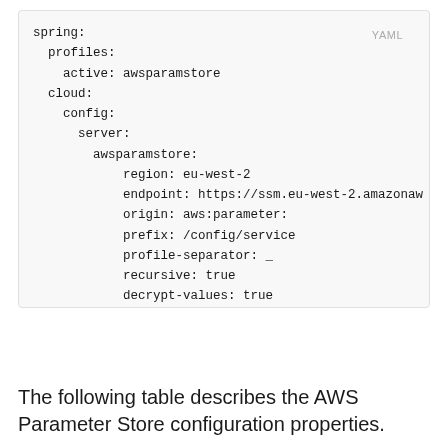[Figure (screenshot): YAML code block showing Spring Cloud AWS Parameter Store configuration with fields: spring.profiles.active, cloud.config.server.awsparamstore including region, endpoint, origin, prefix, profile-separator, recursive, decrypt-values, max-results]
The following table describes the AWS Parameter Store configuration properties.